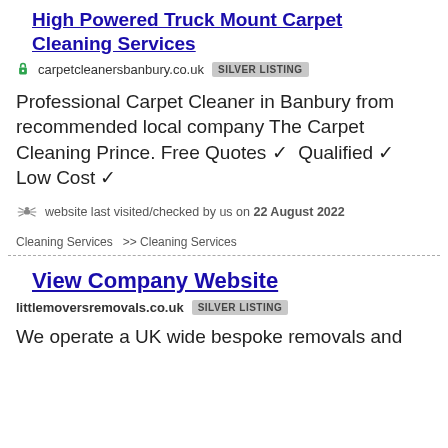High Powered Truck Mount Carpet Cleaning Services
carpetcleanersbanbury.co.uk  SILVER LISTING
Professional Carpet Cleaner in Banbury from recommended local company The Carpet Cleaning Prince. Free Quotes ✓  Qualified ✓  Low Cost ✓
website last visited/checked by us on 22 August 2022
Cleaning Services  >> Cleaning Services
View Company Website
littlemoversremovals.co.uk  SILVER LISTING
We operate a UK wide bespoke removals and